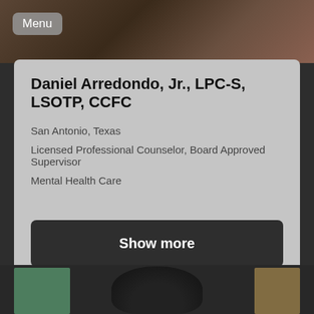[Figure (photo): Top portion of a professional photo of a man in a suit with a red tie, dark background]
Menu
Daniel Arredondo, Jr., LPC-S, LSOTP, CCFC
San Antonio, Texas
Licensed Professional Counselor, Board Approved Supervisor
Mental Health Care
Show more
[Figure (photo): Bottom portion of a second professional photo showing a person from behind in a dark jacket, with colorful tiled background in green and yellow]